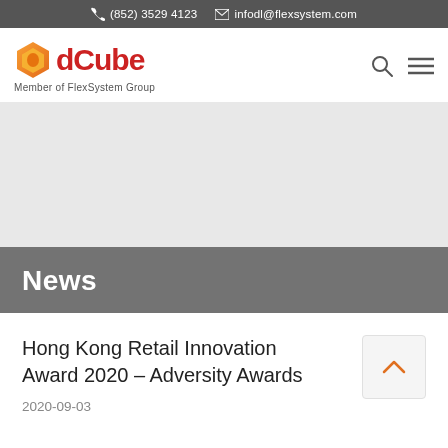(852) 3529 4123   infodl@flexsystem.com
[Figure (logo): dCube logo with orange hexagon icon and red 'dCube' text, with tagline 'Member of FlexSystem Group']
[Figure (photo): Gray placeholder hero image area]
News
Hong Kong Retail Innovation Award 2020 – Adversity Awards
2020-09-03